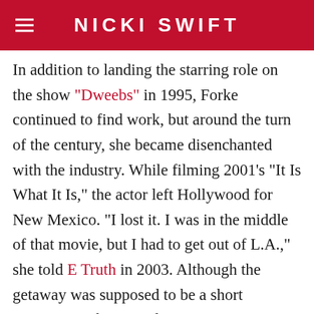NICKI SWIFT
In addition to landing the starring role on the show "Dweebs" in 1995, Forke continued to find work, but around the turn of the century, she became disenchanted with the industry. While filming 2001's "It Is What It Is," the actor left Hollywood for New Mexico. "I lost it. I was in the middle of that movie, but I had to get out of L.A.," she told E Truth in 2003. Although the getaway was supposed to be a short reprieve, Forke wound up staying in New Mexico long-term. She enjoyed the change of pace away from Tinseltown. "Julia Roberts lives down the road, but there is nobody right around me. For a long time, I had no TV," she told the outlet.